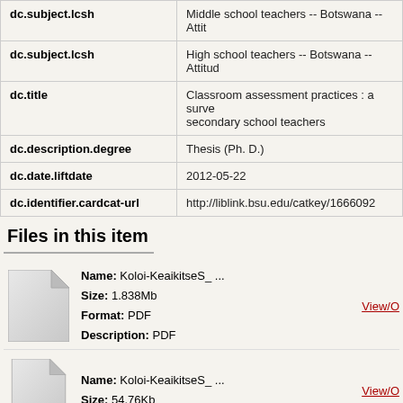| Field | Value |
| --- | --- |
| dc.subject.lcsh | Middle school teachers -- Botswana -- Attit... |
| dc.subject.lcsh | High school teachers -- Botswana -- Attitud... |
| dc.title | Classroom assessment practices : a survey... secondary school teachers |
| dc.description.degree | Thesis (Ph. D.) |
| dc.date.liftdate | 2012-05-22 |
| dc.identifier.cardcat-url | http://liblink.bsu.edu/catkey/1666092 |
Files in this item
Name: Koloi-KeaikitseS_ ...  Size: 1.838Mb  Format: PDF  Description: PDF
Name: Koloi-KeaikitseS_ ...  Size: 54.76Kb